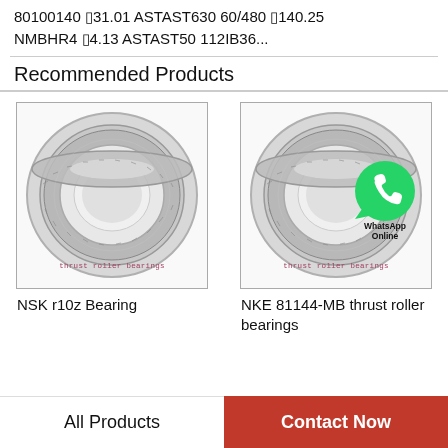80100140 ▯31.01 ASTAST630 60/480 ▯140.25 NMBHR4 ▯4.13 ASTAST50 112IB36...
Recommended Products
[Figure (photo): NSK r10z thrust roller bearing product image with watermark text 'thrust roller bearings']
NSK r10z Bearing
[Figure (photo): NKE 81144-MB thrust roller bearing product image with WhatsApp Online overlay and watermark text 'thrust roller bearings']
NKE 81144-MB thrust roller bearings
All Products | Contact Now